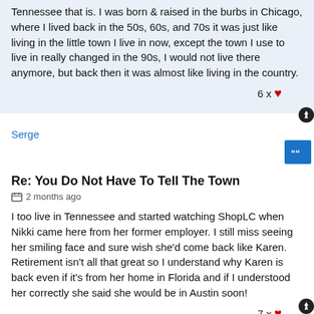Tennessee that is. I was born & raised in the burbs in Chicago, where I lived back in the 50s, 60s, and 70s it was just like living in the little town I live in now, except the town I use to live in really changed in the 90s, I would not live there anymore, but back then it was almost like living in the country.
6 x ♥
Serge
Re: You Do Not Have To Tell The Town
2 months ago
I too live in Tennessee and started watching ShopLC when Nikki came here from her former employer. I still miss seeing her smiling face and sure wish she'd come back like Karen. Retirement isn't all that great so I understand why Karen is back even if it's from her home in Florida and if I understood her correctly she said she would be in Austin soon!
7 x ♥